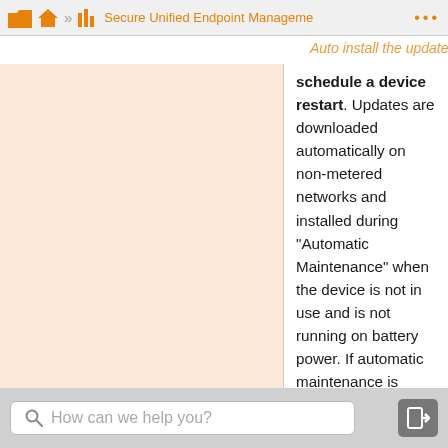Home » Secure Unified Endpoint Management
Auto install the update and then notify the user to schedule a device restart. Updates are downloaded automatically on non-metered networks and installed during "Automatic Maintenance" when the device is not in use and is not running on battery power. If automatic maintenance is unable to install updates for two days, Windows Update will install updates immediately. If the installation requires a restart, the end-user is prompted to schedule the restart time. The end-user has up to seven days to schedule the restart and after that, a restart of the device is forced. Enabling the end-user to control the start time reduces the risk of accidental data loss caused by applications that do not shutdown properly on restart.
How can we help you?